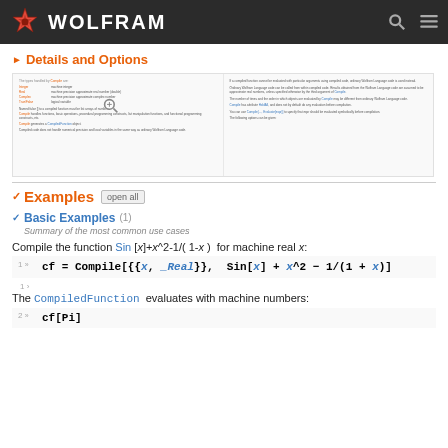WOLFRAM
> Details and Options
[Figure (screenshot): Blurred screenshot of Wolfram documentation details and options section with magnifying glass icon overlay]
v Examples  open all
v Basic Examples (1)
Summary of the most common use cases
Compile the function Sin [x]+x^2-1/(1-x) for machine real x:
1 >
The CompiledFunction evaluates with machine numbers: